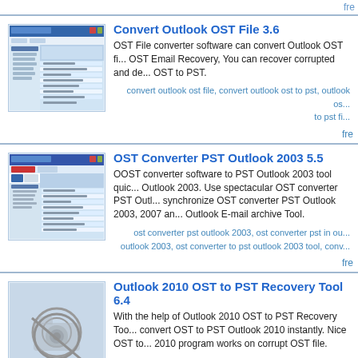fre
Convert Outlook OST File 3.6
OST File converter software can convert Outlook OST fi... OST Email Recovery, You can recover corrupted and de... OST to PST.
convert outlook ost file, convert outlook ost to pst, outlook os... to pst fi...
fre
OST Converter PST Outlook 2003 5.5
OOST converter software to PST Outlook 2003 tool quic... Outlook 2003. Use spectacular OST converter PST Outl... synchronize OST converter PST Outlook 2003, 2007 an... Outlook E-mail archive Tool.
ost converter pst outlook 2003, ost converter pst in ou... outlook 2003, ost converter to pst outlook 2003 tool, conv...
fre
Outlook 2010 OST to PST Recovery Tool 6.4
With the help of Outlook 2010 OST to PST Recovery Too... convert OST to PST Outlook 2010 instantly. Nice OST to... 2010 program works on corrupt OST file.
outlook 2010 ost to pst recovery tool, outlook 2010 ost to...